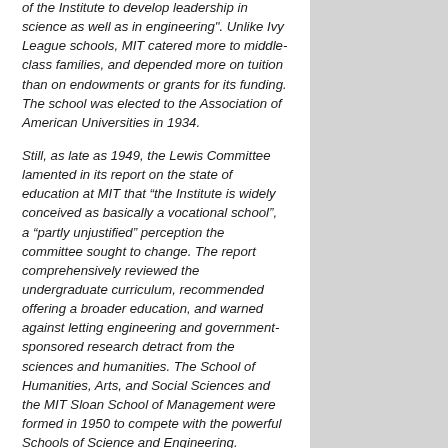of the Institute to develop leadership in science as well as in engineering". Unlike Ivy League schools, MIT catered more to middle-class families, and depended more on tuition than on endowments or grants for its funding. The school was elected to the Association of American Universities in 1934.
Still, as late as 1949, the Lewis Committee lamented in its report on the state of education at MIT that “the Institute is widely conceived as basically a vocational school”, a “partly unjustified” perception the committee sought to change. The report comprehensively reviewed the undergraduate curriculum, recommended offering a broader education, and warned against letting engineering and government-sponsored research detract from the sciences and humanities. The School of Humanities, Arts, and Social Sciences and the MIT Sloan School of Management were formed in 1950 to compete with the powerful Schools of Science and Engineering. Previously marginalized faculties in the areas of economics, management, political science, and linguistics emerged into cohesive and assertive departments